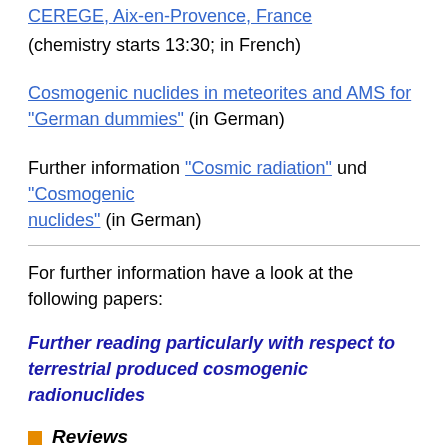CEREGE, Aix-en-Provence, France
(chemistry starts 13:30; in French)
Cosmogenic nuclides in meteorites and AMS for "German dummies" (in German)
Further information "Cosmic radiation" und "Cosmogenic nuclides" (in German)
For further information have a look at the following papers:
Further reading particularly with respect to terrestrial produced cosmogenic radionuclides
Reviews
P. R. Bierman, Rock to sediment – slope to sea with